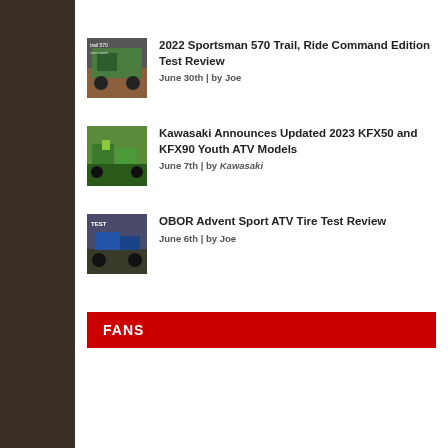2022 Sportsman 570 Trail, Ride Command Edition Test Review
June 30th | by Joe
Kawasaki Announces Updated 2023 KFX50 and KFX90 Youth ATV Models
June 7th | by Kawasaki
OBOR Advent Sport ATV Tire Test Review
June 6th | by Joe
FANS